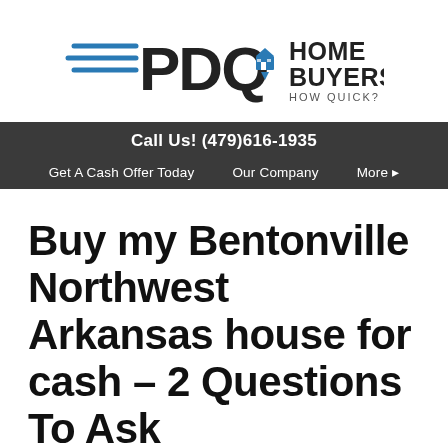[Figure (logo): PDQ Home Buyers logo with speed lines on the left and a house icon, tagline 'HOW QUICK? PDQ']
Call Us! (479)616-1935
Get A Cash Offer Today   Our Company   More ▸
Buy my Bentonville Northwest Arkansas house for cash – 2 Questions To Ask
March 27, 2018
By tfthompson